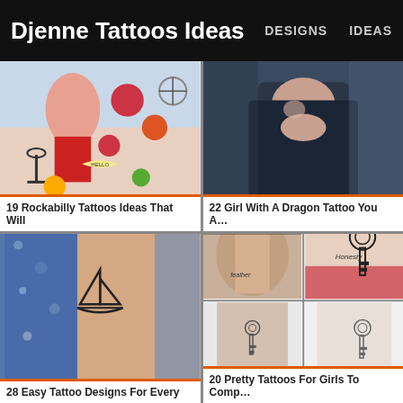Djenne Tattoos Ideas | DESIGNS | IDEAS
[Figure (photo): Colorful rockabilly tattoo flash sheet with pin-up girl, roses, anchor, compass, and sailor motifs]
19 Rockabilly Tattoos Ideas That Will
[Figure (photo): Close-up of a person wearing a dark hoodie, face partially visible, from The Girl with the Dragon Tattoo]
22 Girl With A Dragon Tattoo You A…
[Figure (photo): Wrist with a small minimalist sailboat outline tattoo, blue patterned fabric in background]
28 Easy Tattoo Designs For Every
[Figure (photo): Four-panel collage of small key and word tattoos on necks, wrists and torso]
20 Pretty Tattoos For Girls To Comp…